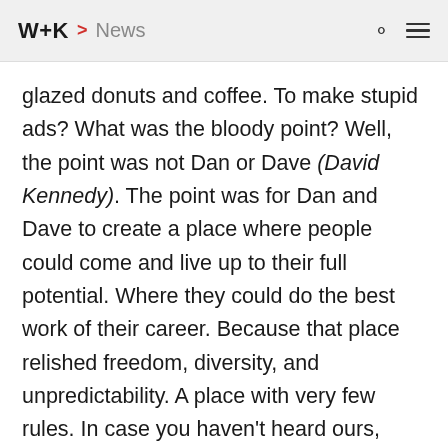W+K > News
glazed donuts and coffee. To make stupid ads? What was the bloody point? Well, the point was not Dan or Dave (David Kennedy). The point was for Dan and Dave to create a place where people could come and live up to their full potential. Where they could do the best work of their career. Because that place relished freedom, diversity, and unpredictability. A place with very few rules. In case you haven't heard ours, here they are. These rules David actually found in an empty file drawer when we were exiting our previous place of employment.